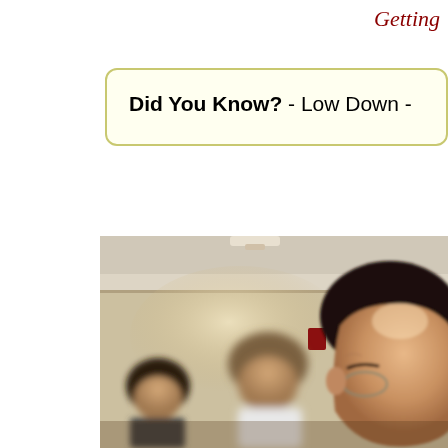Getting
Did You Know? - Low Down -
[Figure (photo): A group of people in a room with beige walls. On the right is a close-up of an older Asian man wearing glasses. In the background are two women, one with dark hair and one with lighter hair wearing a white top. A fire alarm box is visible on the wall behind them.]